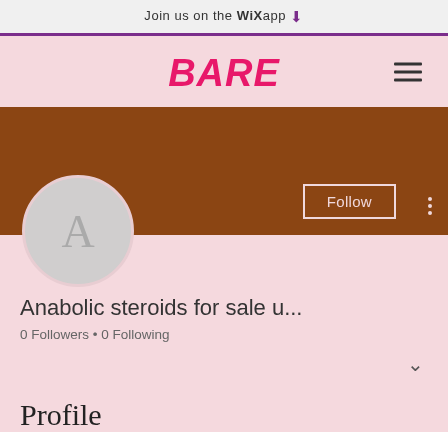Join us on the WiX app
[Figure (screenshot): BARE website mobile app screenshot showing user profile page for 'Anabolic steroids for sale u...' with brown cover banner, avatar circle with letter A, Follow button, 0 Followers 0 Following, and Profile section header.]
BARE
Anabolic steroids for sale u...
0 Followers • 0 Following
Profile